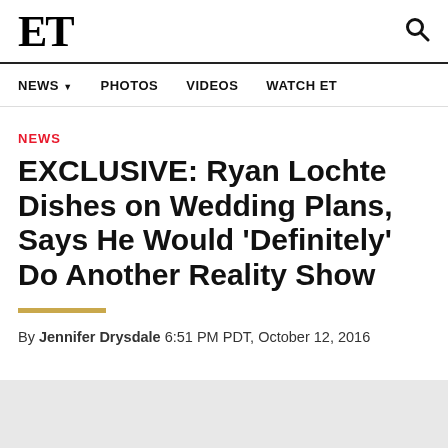ET
NEWS  PHOTOS  VIDEOS  WATCH ET
NEWS
EXCLUSIVE: Ryan Lochte Dishes on Wedding Plans, Says He Would 'Definitely' Do Another Reality Show
By Jennifer Drysdale 6:51 PM PDT, October 12, 2016